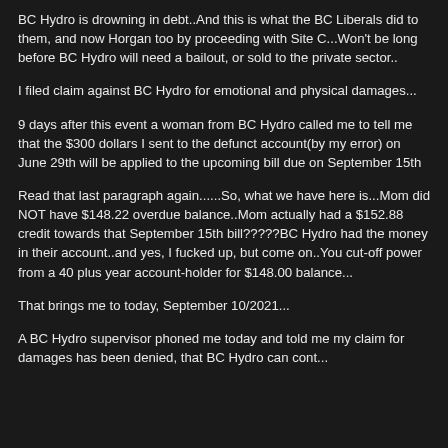BC Hydro is drowning in debt..And this is what the BC Liberals did to them, and now Horgan too by proceeding with Site C...Won't be long before BC Hydro will need a bailout, or sold to the private sector..
I filed claim against BC Hydro for emotional and physical damages...
9 days after this event a woman from BC Hydro called me to tell me that the $300 dollars I sent to the defunct account(by my error) on June 29th will be applied to the upcoming bill due on September 15th
Read that last paragraph again......So, what we have here is...Mom did NOT have $148.22 overdue balance..Mom actually had a $152.88 credit towards that September 15th bill?????BC Hydro had the money in their account..and yes, I fucked up, but come on..You cut-off power from a 40 plus year account-holder for $148.00 balance...
That brings me to today, September 10/2021...
A BC Hydro supervisor phoned me today and told me my claim for damages has been denied, that BC Hydro can cont...